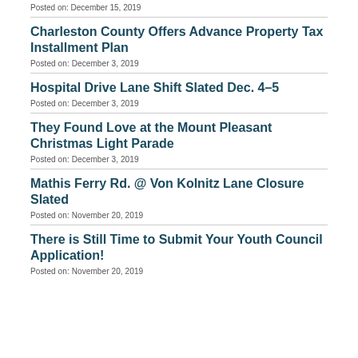Posted on: December 15, 2019
Charleston County Offers Advance Property Tax Installment Plan
Posted on: December 3, 2019
Hospital Drive Lane Shift Slated Dec. 4–5
Posted on: December 3, 2019
They Found Love at the Mount Pleasant Christmas Light Parade
Posted on: December 3, 2019
Mathis Ferry Rd. @ Von Kolnitz Lane Closure Slated
Posted on: November 20, 2019
There is Still Time to Submit Your Youth Council Application!
Posted on: November 20, 2019